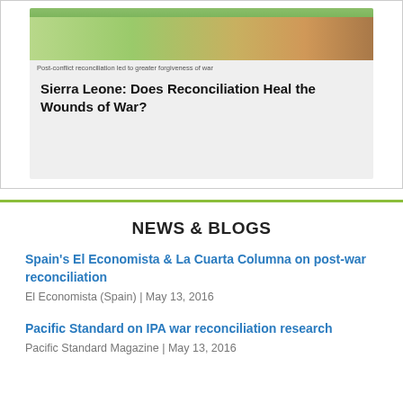[Figure (photo): Thumbnail image showing a post-conflict reconciliation scene outdoors]
Post-conflict reconciliation led to greater forgiveness of war
Sierra Leone: Does Reconciliation Heal the Wounds of War?
NEWS & BLOGS
Spain's El Economista & La Cuarta Columna on post-war reconciliation
El Economista (Spain) | May 13, 2016
Pacific Standard on IPA war reconciliation research
Pacific Standard Magazine | May 13, 2016